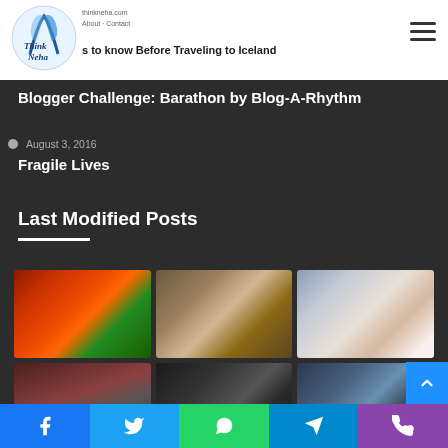ThinkNeha - Things to know Before Traveling to Iceland
Blogger Challenge: Barathon by Blog-A-Rhythm
August 3, 2016
Fragile Lives
Last Modified Posts
[Figure (photo): Grid of 6 blog post thumbnail images: red/orange flowers, child covering face with hat, mother with baby, misty mountain path, dark figure in storm, city with mountain backdrop]
Social sharing buttons: Facebook, Twitter, WhatsApp, Telegram, Phone